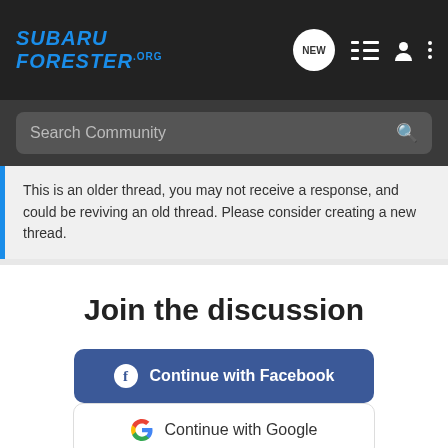SUBARU FORESTER.org — navigation header with NEW, list, user, and menu icons
Search Community
This is an older thread, you may not receive a response, and could be reviving an old thread. Please consider creating a new thread.
Join the discussion
Continue with Facebook
Continue with Google
or sign up with email
[Figure (other): Nitto All-New Nomad Grappler Crossover-Terrain Tire advertisement banner with tire and SUV imagery]